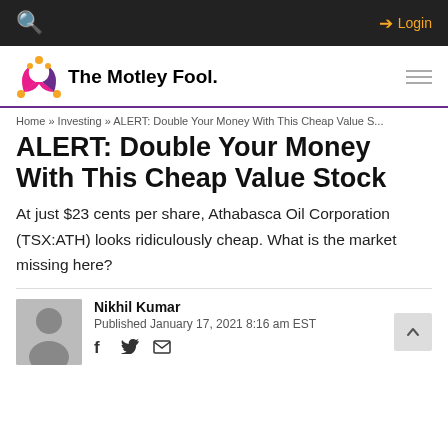The Motley Fool — Login
[Figure (logo): The Motley Fool logo with jester hat icon]
Home » Investing » ALERT: Double Your Money With This Cheap Value S...
ALERT: Double Your Money With This Cheap Value Stock
At just $23 cents per share, Athabasca Oil Corporation (TSX:ATH) looks ridiculously cheap. What is the market missing here?
Nikhil Kumar
Published January 17, 2021 8:16 am EST